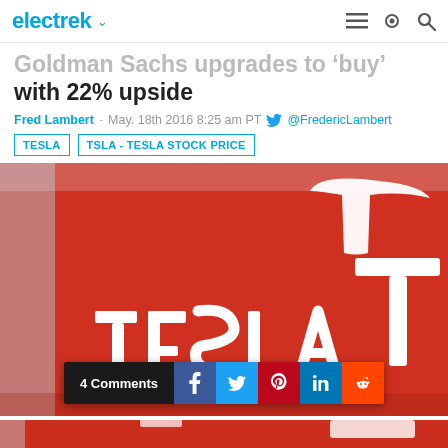electrek
Goldman Sachs upgrades to 'buy' with 22% upside
Fred Lambert - May. 18th 2016 8:25 am PT @FredericLambert
TESLA
TSLA - TESLA STOCK PRICE
[Figure (photo): Tesla logo on red wall in a Tesla showroom — white 3D letters spelling TESLA with the T logo mark above]
[Figure (photo): Partial view of Tesla showroom red wall with logo, bottom of page, partially cut off]